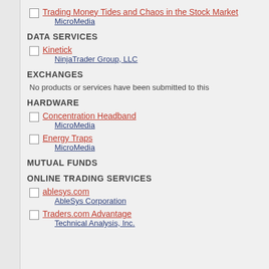Trading Money Tides and Chaos in the Stock Market
MicroMedia
DATA SERVICES
Kinetick
NinjaTrader Group, LLC
EXCHANGES
No products or services have been submitted to this
HARDWARE
Concentration Headband
MicroMedia
Energy Traps
MicroMedia
MUTUAL FUNDS
ONLINE TRADING SERVICES
ablesys.com
AbleSys Corporation
Traders.com Advantage
Technical Analysis, Inc.